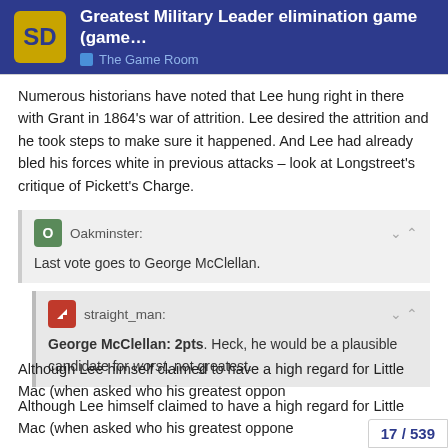Greatest Military Leader elimination game (game... | The Game Room
Numerous historians have noted that Lee hung right in there with Grant in 1864's war of attrition. Lee desired the attrition and he took steps to make sure it happened. And Lee had already bled his forces white in previous attacks – look at Longstreet's critique of Pickett's Charge.
Oakminster: Last vote goes to George McClellan.
straight_man: George McClellan: 2pts. Heck, he would be a plausible candidate for worst, not greatest.
Although Lee himself claimed to have a high regard for Little Mac (when asked who his greatest opponent was, he famously said, "McClellan, by all odds.") L…
17 / 539